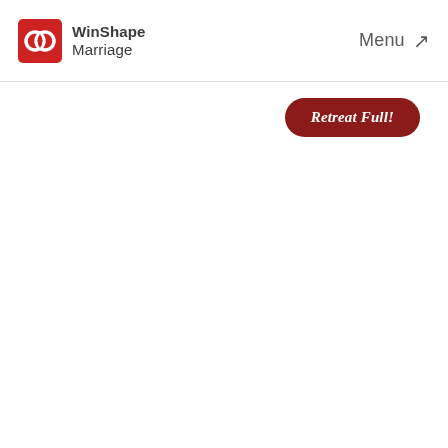WinShape Marriage | Menu
[Figure (logo): WinShape Marriage logo: red interlocked rings icon with WinShape Marriage text in dark gray]
Menu ↗
Retreat Full!